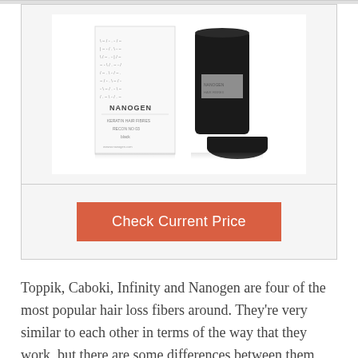[Figure (photo): Product photo of Nanogen hair loss fibers — a white box with text pattern and 'NANOGEN' branding alongside a black cylindrical container with its cap off]
Check Current Price
Toppik, Caboki, Infinity and Nanogen are four of the most popular hair loss fibers around. They're very similar to each other in terms of the way that they work, but there are some differences between them that you should be aware of. Let's have a look at their similarities and their differences so you can get a better idea of the best option